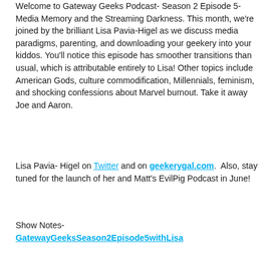Welcome to Gateway Geeks Podcast- Season 2 Episode 5- Media Memory and the Streaming Darkness. This month, we're joined by the brilliant Lisa Pavia-Higel as we discuss media paradigms, parenting, and downloading your geekery into your kiddos. You'll notice this episode has smoother transitions than usual, which is attributable entirely to Lisa! Other topics include American Gods, culture commodification, Millennials, feminism, and shocking confessions about Marvel burnout. Take it away Joe and Aaron.
Lisa Pavia- Higel on Twitter and on geekerygal.com.  Also, stay tuned for the launch of her and Matt's EvilPig Podcast in June!
Show Notes- GatewayGeeksSeason2Episode5withLisa